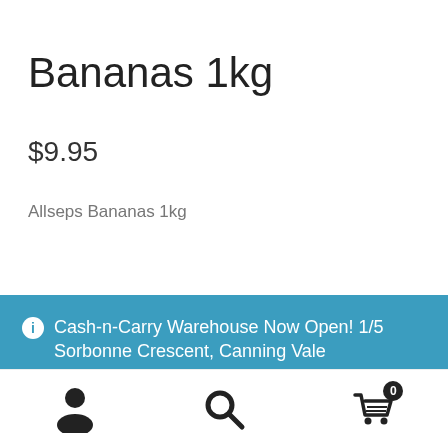Bananas 1kg
$9.95
Allseps Bananas 1kg
Cash-n-Carry Warehouse Now Open! 1/5 Sorbonne Crescent, Canning Vale
Dismiss
[Figure (infographic): Bottom navigation bar with three icons: user/account icon, search magnifying glass icon, and shopping cart icon with badge showing 0]